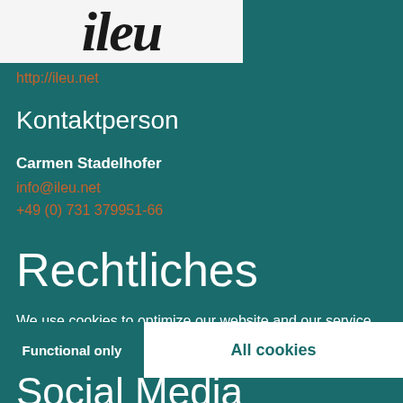[Figure (logo): ileu logo - stylized handwritten text 'ileu' in dark on light background]
http://ileu.net
Kontaktperson
Carmen Stadelhofer
info@ileu.net
+49 (0) 731 379951-66
Rechtliches
We use cookies to optimize our website and our service.  Read more
Functional only
All cookies
Social Media